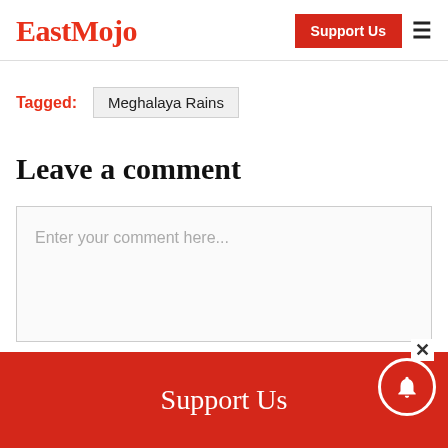EastMojo | Support Us
Tagged: Meghalaya Rains
Leave a comment
Enter your comment here...
Support Us